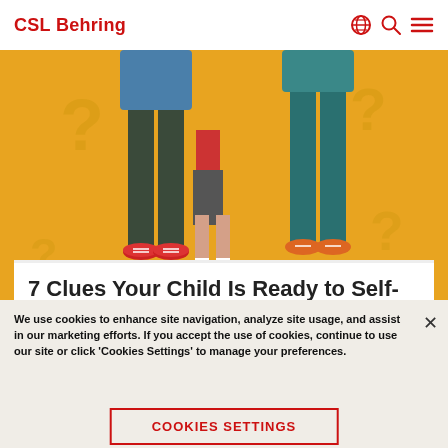CSL Behring
[Figure (illustration): Illustration of three figures from waist down standing on yellow/orange background with question marks. Central figure is a child wearing green sneakers, flanked by two taller figures (adults or teenagers). All wearing colorful shoes on a golden-yellow background.]
7 Clues Your Child Is Ready to Self-Infuse
We use cookies to enhance site navigation, analyze site usage, and assist in our marketing efforts. If you accept the use of cookies, continue to use our site or click 'Cookies Settings' to manage your preferences.
Cookies Settings